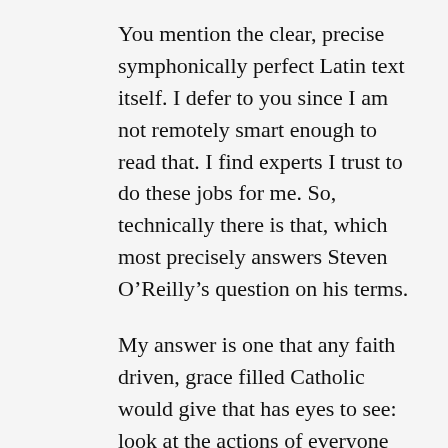You mention the clear, precise symphonically perfect Latin text itself. I defer to you since I am not remotely smart enough to read that. I find experts I trust to do these jobs for me. So, technically there is that, which most precisely answers Steven O'Reilly's question on his terms.
My answer is one that any faith driven, grace filled Catholic would give that has eyes to see: look at the actions of everyone involved. Pope Benedict XVI quietly prays under the watchful protection of his patron archangel, St. Michael. Jorge Bergoglio advances the careers of perverts and criminals while heresy is aggressively advanced at a stunning pace as the Faith